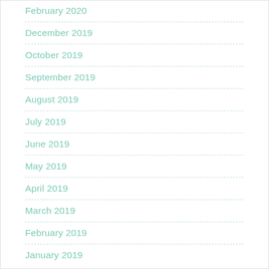February 2020
December 2019
October 2019
September 2019
August 2019
July 2019
June 2019
May 2019
April 2019
March 2019
February 2019
January 2019